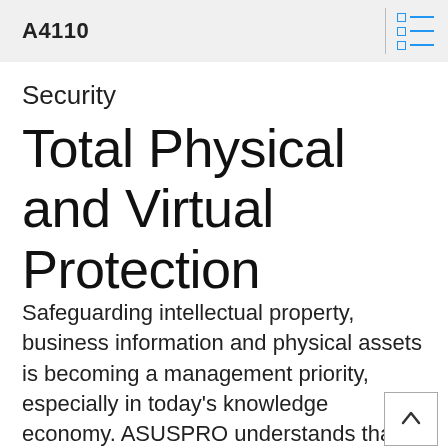A4110
Security
Total Physical and Virtual Protection
Safeguarding intellectual property, business information and physical assets is becoming a management priority, especially in today’s knowledge economy. ASUSPRO understands that, so our desktop solutions are built with